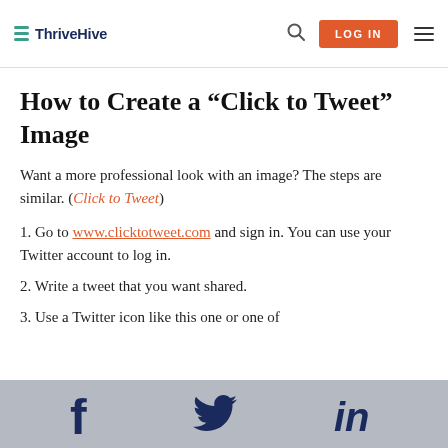ThriveHive — LOG IN
How to Create a “Click to Tweet” Image
Want a more professional look with an image? The steps are similar. (Click to Tweet)
1. Go to www.clicktotweet.com and sign in. You can use your Twitter account to log in.
2. Write a tweet that you want shared.
3. Use a Twitter icon like this one or one of the ones on the Click to Tweet tool it
Facebook  Twitter  LinkedIn social share icons